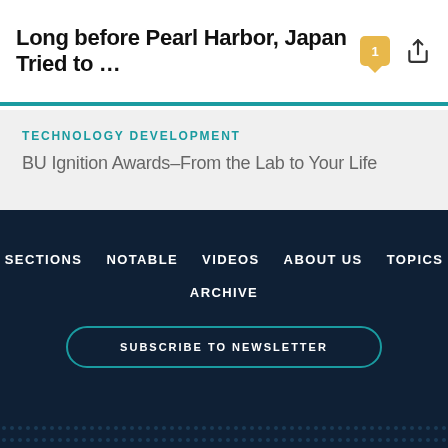Long before Pearl Harbor, Japan Tried to …
TECHNOLOGY DEVELOPMENT
BU Ignition Awards–From the Lab to Your Life
SECTIONS   NOTABLE   VIDEOS   ABOUT US   TOPICS   ARCHIVE   SUBSCRIBE TO NEWSLETTER